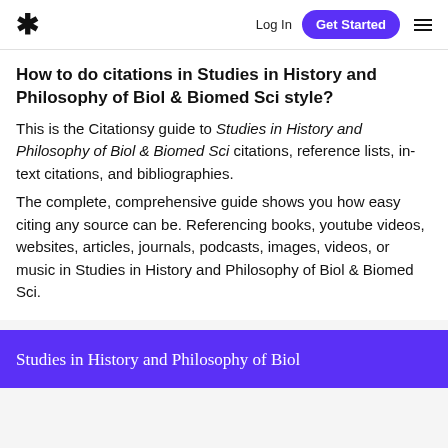* Log In  Get Started  ≡
How to do citations in Studies in History and Philosophy of Biol & Biomed Sci style?
This is the Citationsy guide to Studies in History and Philosophy of Biol & Biomed Sci citations, reference lists, in-text citations, and bibliographies.
The complete, comprehensive guide shows you how easy citing any source can be. Referencing books, youtube videos, websites, articles, journals, podcasts, images, videos, or music in Studies in History and Philosophy of Biol & Biomed Sci.
[Figure (other): Purple banner with white serif text reading 'Studies in History and Philosophy of Biol']